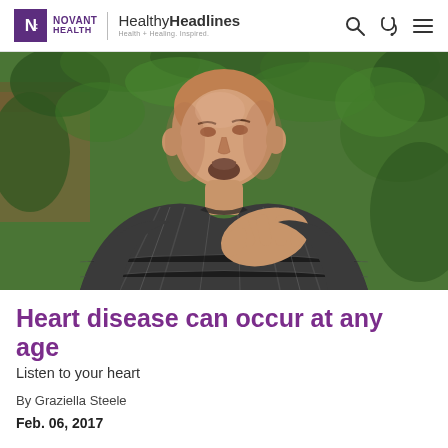Novant Health | Healthy Headlines — Health + Healing. Inspired.
[Figure (photo): A bald man with a goatee wearing a dark plaid shirt holds his hand to his chest, appearing to experience chest pain or discomfort, with green ivy-covered walls in the background outdoors.]
Heart disease can occur at any age
Listen to your heart
By Graziella Steele
Feb. 06, 2017